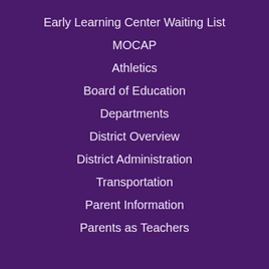Early Learning Center Waiting List
MOCAP
Athletics
Board of Education
Departments
District Overview
District Administration
Transportation
Parent Information
Parents as Teachers